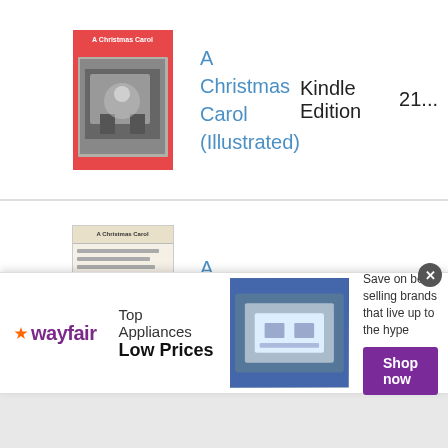| Cover | Title | Format | Price |
| --- | --- | --- | --- |
| [book cover image] | A Christmas Carol (Illustrated) | Kindle Edition | 21... |
| [book cover image] | A Christmas Carol | Paperback | 76... |
| [book cover image] | A Christmas Carol (Annotated Edition) | Paperback | 20... |
| [book cover image] | A Christmas Carol | Paperback | 56... |
[Figure (advertisement): Wayfair advertisement banner: Top Appliances Low Prices, Save on best selling brands that live up to the hype, Shop now button]